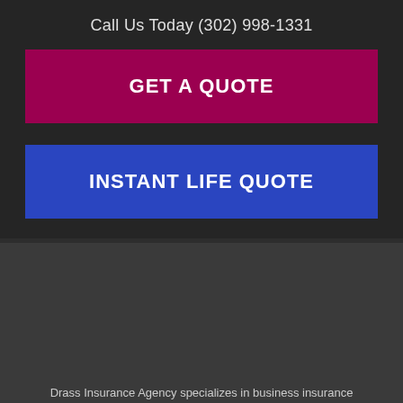Call Us Today (302) 998-1331
GET A QUOTE
INSTANT LIFE QUOTE
Drass Insurance Agency specializes in business insurance